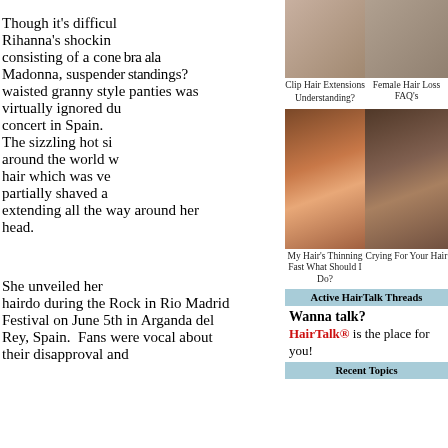Though it's difficult Rihanna's shocking consisting of a cone bra ala Madonna, suspended legs and high waisted granny style panties was virtually ignored during her concert in Spain. The sizzling hot singer toured around the world with her hair which was very partially shaved and extending all the way around her head.

She unveiled her hairdo during the Rock in Rio Madrid Festival on June 5th in Arganda del Rey, Spain. Fans were vocal about their disapproval and
[Figure (photo): Photo of person - top left of sidebar]
Clip Hair Extensions
Understanding?
[Figure (photo): Photo top right of sidebar - Female Hair Loss]
Female Hair Loss FAQ's
[Figure (photo): Red-haired woman with braid]
My Hair's Thinning Fast What Should I Do?
[Figure (photo): Brown haired woman with bangs]
Crying For Your Hair
Active HairTalk Threads
Wanna talk? HairTalk® is the place for you!
Recent Topics